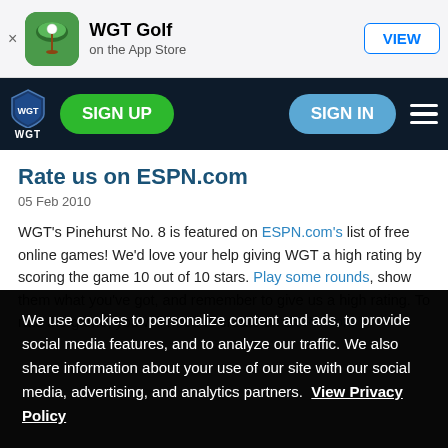[Figure (screenshot): App Store banner showing WGT Golf app icon, name, and VIEW button]
[Figure (screenshot): WGT website navigation bar with logo, SIGN UP button, SIGN IN button, and hamburger menu]
Rate us on ESPN.com
05 Feb 2010
WGT's Pinehurst No. 8 is featured on ESPN.com's list of free online games! We'd love your help giving WGT a high rating by scoring the game 10 out of 10 stars. Play some rounds, show them what you've got, and remember to give us a high rating. To rate the game, you will need to create an ESPN.com
We use cookies to personalize content and ads, to provide social media features, and to analyze our traffic. We also share information about your use of our site with our social media, advertising, and analytics partners.  View Privacy Policy
Settings
OK